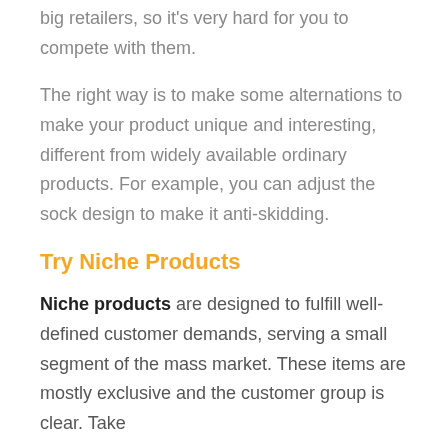big retailers, so it's very hard for you to compete with them.
The right way is to make some alternations to make your product unique and interesting, different from widely available ordinary products. For example, you can adjust the sock design to make it anti-skidding.
Try Niche Products
Niche products are designed to fulfill well-defined customer demands, serving a small segment of the mass market. These items are mostly exclusive and the customer group is clear. Take